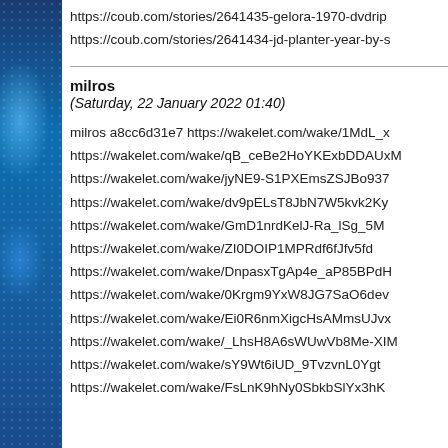https://coub.com/stories/2641435-gelora-1970-dvdrip
https://coub.com/stories/2641434-jd-planter-year-by-s
milros
(Saturday, 22 January 2022 01:40)
milros a8cc6d31e7 https://wakelet.com/wake/1MdL_x
https://wakelet.com/wake/qB_ceBe2HoYKExbDDAUxM
https://wakelet.com/wake/jyNE9-S1PXEmsZSJBo937
https://wakelet.com/wake/dv9pELsT8JbN7W5kvk2Ky
https://wakelet.com/wake/GmD1nrdKelJ-Ra_lSg_5M
https://wakelet.com/wake/ZI0DOIP1MPRdf6fJfv5fd
https://wakelet.com/wake/DnpasxTgAp4e_aP85BPdH
https://wakelet.com/wake/0Krgm9YxW8JG7SaO6dev
https://wakelet.com/wake/Ei0R6nmXigcHsAMmsUJvx
https://wakelet.com/wake/_LhsH8A6sWUwVb8Me-XIM
https://wakelet.com/wake/sY9Wt6iUD_9TvzvnL0Ygt
https://wakelet.com/wake/FsLnK9hNy0SbkbSlYx3hK